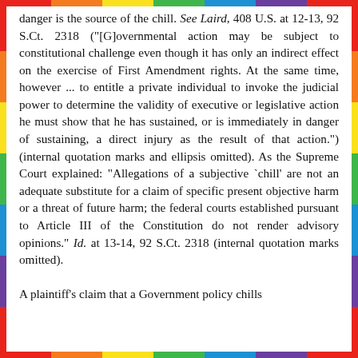danger is the source of the chill. See Laird, 408 U.S. at 12-13, 92 S.Ct. 2318 ("[G]overnmental action may be subject to constitutional challenge even though it has only an indirect effect on the exercise of First Amendment rights. At the same time, however ... to entitle a private individual to invoke the judicial power to determine the validity of executive or legislative action he must show that he has sustained, or is immediately in danger of sustaining, a direct injury as the result of that action.") (internal quotation marks and ellipsis omitted). As the Supreme Court explained: "Allegations of a subjective `chill' are not an adequate substitute for a claim of specific present objective harm or a threat of future harm; the federal courts established pursuant to Article III of the Constitution do not render advisory opinions." Id. at 13-14, 92 S.Ct. 2318 (internal quotation marks omitted).

A plaintiff's claim that a Government policy chills